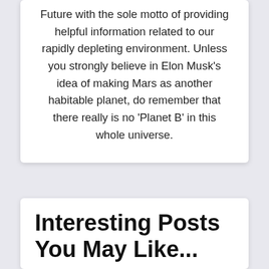Future with the sole motto of providing helpful information related to our rapidly depleting environment. Unless you strongly believe in Elon Musk's idea of making Mars as another habitable planet, do remember that there really is no 'Planet B' in this whole universe.
Interesting Posts You May Like...
How is Australia going Electric?